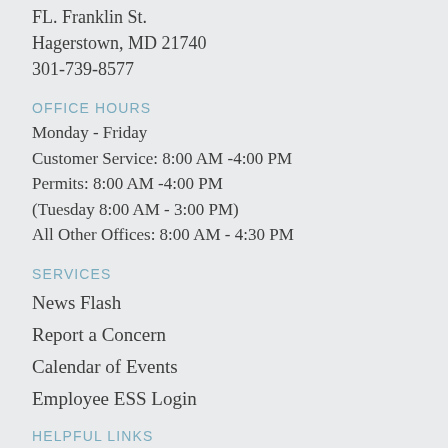FL. Franklin St.
Hagerstown, MD 21740
301-739-8577
OFFICE HOURS
Monday - Friday
Customer Service: 8:00 AM -4:00 PM
Permits: 8:00 AM -4:00 PM
(Tuesday 8:00 AM - 3:00 PM)
All Other Offices: 8:00 AM - 4:30 PM
SERVICES
News Flash
Report a Concern
Calendar of Events
Employee ESS Login
HELPFUL LINKS
Site Map
Accessibility
Copyright Notice